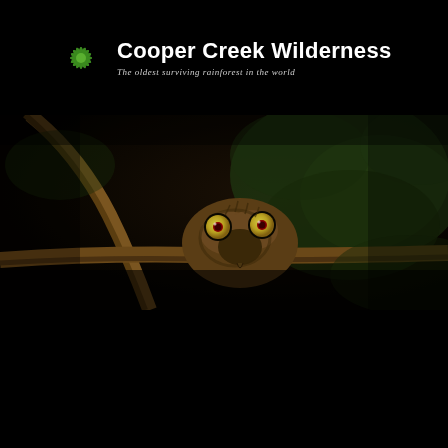[Figure (logo): Cooper Creek Wilderness logo: green spiky circular leaf/plant emblem with white text 'Cooper Creek Wilderness' and italic subtitle 'The oldest surviving rainforest in the world' on black background]
[Figure (photo): Close-up night photograph of an owl (likely a Papuan Boobook or similar small owl) peering over a branch in a dark rainforest setting. The owl has large, prominent yellow eyes with red pupils, brownish mottled feathers, and is partially obscured behind a diagonal branch. Dark green foliage visible in background.]